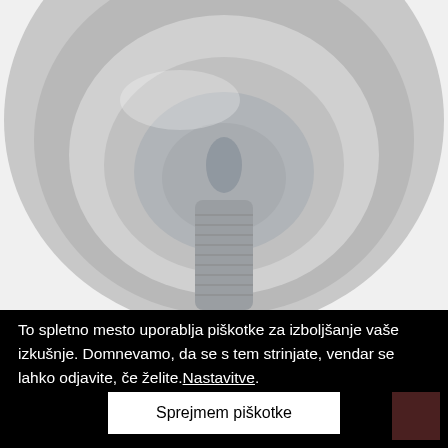[Figure (photo): Close-up top-down photograph of a galvanized metal bolt head with concentric circular ridges, showing the threaded shaft in the center, on a white background.]
To spletno mesto uporablja piškotke za izboljšanje vaše izkušnje. Domnevamo, da se s tem strinjate, vendar se lahko odjavite, če želite.Nastavitve.
Sprejmem piškotke